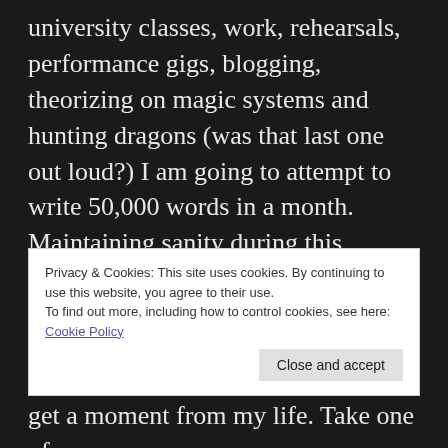university classes, work, rehearsals, performance gigs, blogging, theorizing on magic systems and hunting dragons (was that last one out loud?) I am going to attempt to write 50,000 words in a month. Maintaining sanity during this endeavor is strictly optional.
This is a terrible idea.
Privacy & Cookies: This site uses cookies. By continuing to use this website, you agree to their use.
To find out more, including how to control cookies, see here: Cookie Policy
Close and accept
get a moment from my life. Take one of